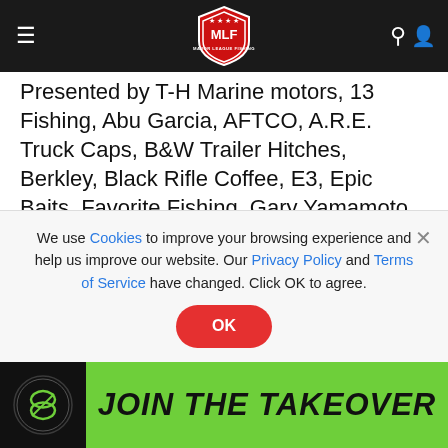MLF Major League Fishing navigation bar
Presented by T-H Marine motors, 13 Fishing, Abu Garcia, AFTCO, A.R.E. Truck Caps, B&W Trailer Hitches, Berkley, Black Rifle Coffee, E3, Epic Baits, Favorite Fishing, Gary Yamamoto Baits, General Tire, Lew's, Lowrance, Lucas Oil, Mercury, Mossy Oak, Onyx, Phoenix, Polaris, Power-Pole, Revital Outdoors, Strike King, Tackle Warehouse, T-H Marine, Toyota, Wiley X, YETI and Yo-Zuri. For complete details and updated tournament information, visit MajorLeagueFishing.com. For regular Bass Fishing League
We use Cookies to improve your browsing experience and help us improve our website. Our Privacy Policy and Terms of Service have changed. Click OK to agree.
[Figure (infographic): JOIN THE TAKEOVER advertisement banner with a green background and circular logo on the left]